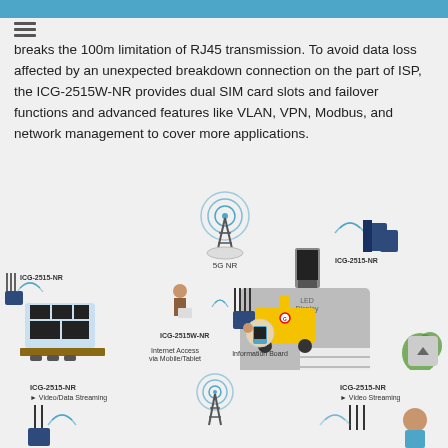breaks the 100m limitation of RJ45 transmission. To avoid data loss affected by an unexpected breakdown connection on the part of ISP, the ICG-2515W-NR provides dual SIM card slots and failover functions and advanced features like VLAN, VPN, Modbus, and network management to cover more applications.
[Figure (infographic): Network diagram showing ICG-2515W-NR and ICG-2515-NR devices connected via 5G NR to a Remote Control Center, LED Display, Information Board (via mobile/tablet internet access), and other endpoints in an industrial/smart city scenario.]
[Figure (infographic): Partial bottom diagram showing ICG-2515-NR devices for Video/Data Streaming and Video Streaming connected via 5G NR tower.]